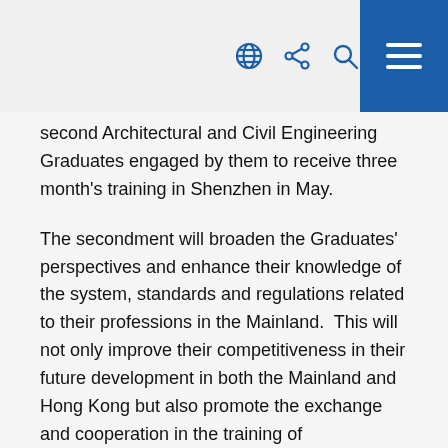[globe icon] [share icon] [search icon] [menu]
second Architectural and Civil Engineering Graduates engaged by them to receive three month's training in Shenzhen in May.
The secondment will broaden the Graduates' perspectives and enhance their knowledge of the system, standards and regulations related to their professions in the Mainland.  This will not only improve their competitiveness in their future development in both the Mainland and Hong Kong but also promote the exchange and cooperation in the training of professionals between the two places.
The Permanent Secretary for the Environment, Transport